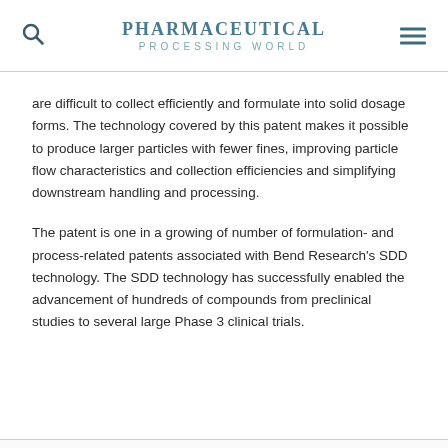PHARMACEUTICAL PROCESSING WORLD
are difficult to collect efficiently and formulate into solid dosage forms. The technology covered by this patent makes it possible to produce larger particles with fewer fines, improving particle flow characteristics and collection efficiencies and simplifying downstream handling and processing.
The patent is one in a growing of number of formulation- and process-related patents associated with Bend Research's SDD technology. The SDD technology has successfully enabled the advancement of hundreds of compounds from preclinical studies to several large Phase 3 clinical trials.